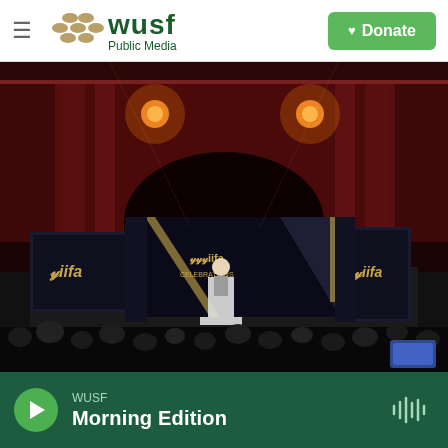WUSF Public Media | Donate
[Figure (photo): An IIFA awards event stage photographed at night inside a grand historic theatre with red-lit ornate architecture. The stage features IIFA branded banners and screens, a podium with a presenter, and an audience in the foreground.]
WUSF Morning Edition (audio player bar)